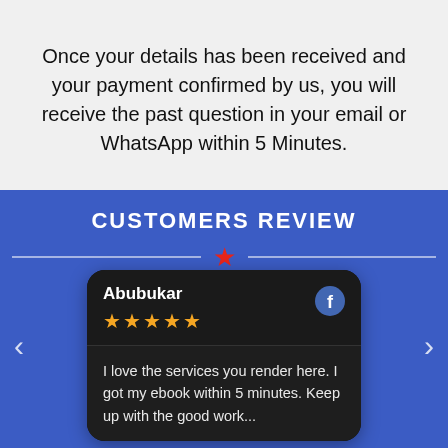Once your details has been received and your payment confirmed by us, you will receive the past question in your email or WhatsApp within 5 Minutes.
CUSTOMERS REVIEW
[Figure (other): Customer review card for Abubukar with 5 gold stars and Facebook icon, review text: 'I love the services you render here. I got my ebook within 5 minutes. Keep up with the good work...']